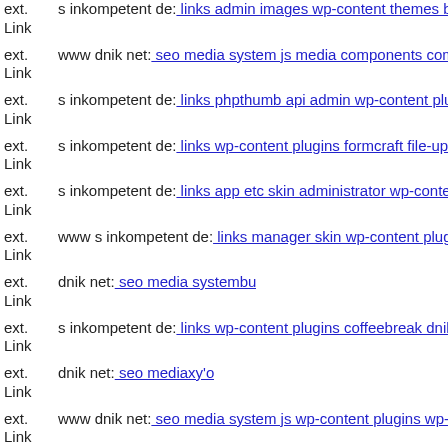ext. Link s inkompetent de: links admin images wp-content themes buch
ext. Link www dnik net: seo media system js media components com b2
ext. Link s inkompetent de: links phpthumb api admin wp-content plugin
ext. Link s inkompetent de: links wp-content plugins formcraft file-uploa
ext. Link s inkompetent de: links app etc skin administrator wp-content p
ext. Link www s inkompetent de: links manager skin wp-content plugins
ext. Link dnik net: seo media systembu
ext. Link s inkompetent de: links wp-content plugins coffeebreak dnik ne
ext. Link dnik net: seo mediaxy'o
ext. Link www dnik net: seo media system js wp-content plugins wp-sym
ext. Link s inkompetent de: links phpthumb phpthumb plog-includes lib
ext. Link www s inkompetent de: links app etc downloader api s inkomp